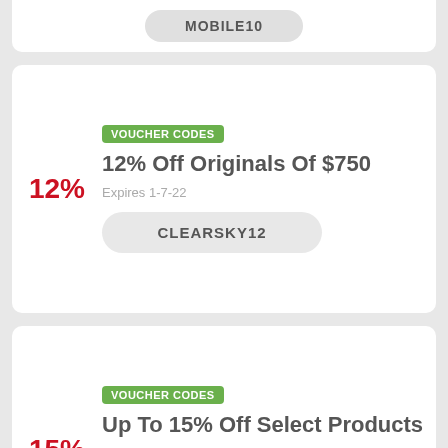MOBILE10
VOUCHER CODES
12% Off Originals Of $750
Expires 1-7-22
CLEARSKY12
VOUCHER CODES
Up To 15% Off Select Products
Expires 20-8-22
spring22